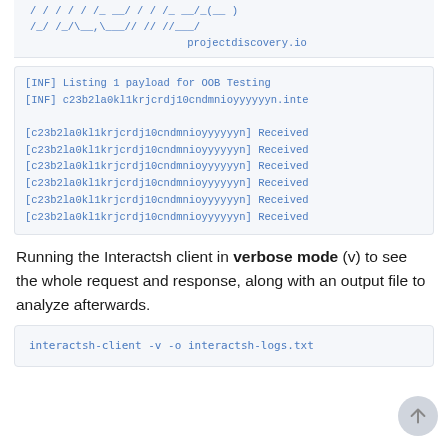[Figure (screenshot): ASCII art logo for projectdiscovery.io shown in a code block with monospace blue text]
[INF] Listing 1 payload for OOB Testing
[INF] c23b2la0kl1krjcrdj10cndmnioyyyyyyn.inte
[c23b2la0kl1krjcrdj10cndmnioyyyyyyn] Received
[c23b2la0kl1krjcrdj10cndmnioyyyyyyn] Received
[c23b2la0kl1krjcrdj10cndmnioyyyyyyn] Received
[c23b2la0kl1krjcrdj10cndmnioyyyyyyn] Received
[c23b2la0kl1krjcrdj10cndmnioyyyyyyn] Received
[c23b2la0kl1krjcrdj10cndmnioyyyyyyn] Received
Running the Interactsh client in verbose mode (v) to see the whole request and response, along with an output file to analyze afterwards.
interactsh-client -v -o interactsh-logs.txt